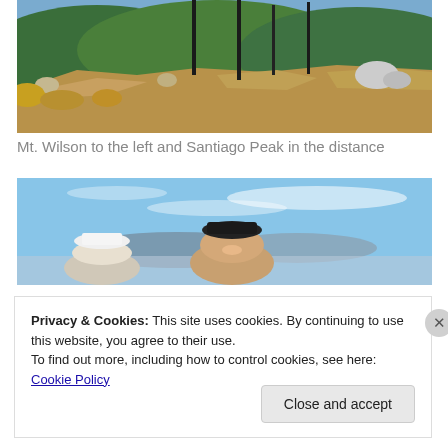[Figure (photo): Mountain summit photo showing rocky terrain with tall bare poles/masts, dry yellow-brown ground, green forested hills and mountains in the background under blue sky.]
Mt. Wilson to the left and Santiago Peak in the distance
[Figure (photo): Two hikers (a person in a white hat and a person in a dark cap smiling) at a mountain summit with expansive aerial view of a valley/city basin and blue sky with wispy clouds behind them.]
Privacy & Cookies: This site uses cookies. By continuing to use this website, you agree to their use.
To find out more, including how to control cookies, see here: Cookie Policy
Close and accept